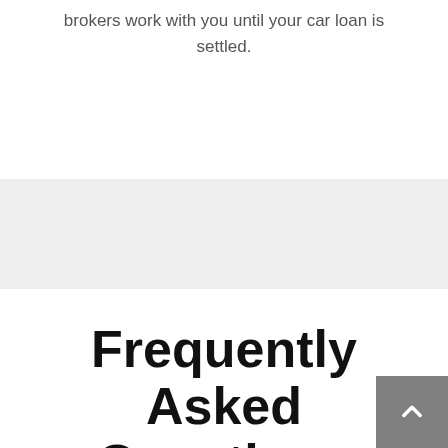brokers work with you until your car loan is settled.
[Figure (other): Light gray horizontal band/section divider]
Frequently Asked Questions